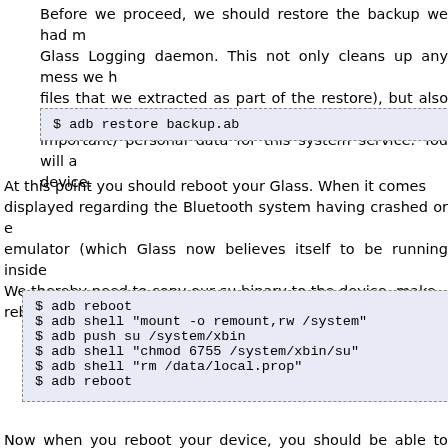Before we proceed, we should restore the backup we had made of the Glass Logging daemon. This not only cleans up any mess we have (files that we extracted as part of the restore), but also will restore important) personal data for this system service. You will also need to reboot the device.
$ adb restore backup.ab
At this point you should reboot your Glass. When it comes back up, a message may be displayed regarding the Bluetooth system having crashed or errors about running inside an emulator (which Glass now believes itself to be running inside of). Ignore these messages. We thereby need to copy our su binary to the device, make it executable, and reboot.
$ adb reboot
$ adb shell "mount -o remount,rw /system"
$ adb push su /system/xbin
$ adb shell "chmod 6755 /system/xbin/su"
$ adb shell "rm /data/local.prop"
$ adb reboot
Now when you reboot your device, you should be able to start...